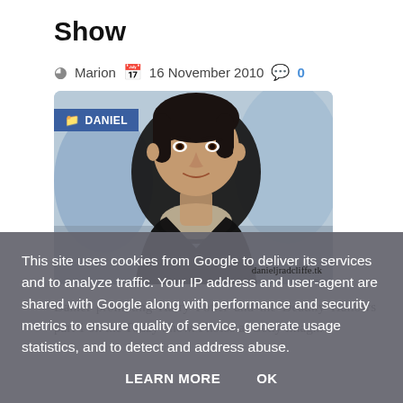Show
Marion  16 November 2010  0
[Figure (photo): Photo of Daniel Radcliffe promoting Harry Potter and the Deathly Hallows part 1 on the Today Show, with a blue tag labeled DANIEL in the top left and watermark text 'danieljradcliffe.tk' at the bottom right.]
Daniel promoting Harry Potter and the Deathly Hallows part 1 on the Today Show. Photos at Getty Imag...
This site uses cookies from Google to deliver its services and to analyze traffic. Your IP address and user-agent are shared with Google along with performance and security metrics to ensure quality of service, generate usage statistics, and to detect and address abuse.
LEARN MORE   OK